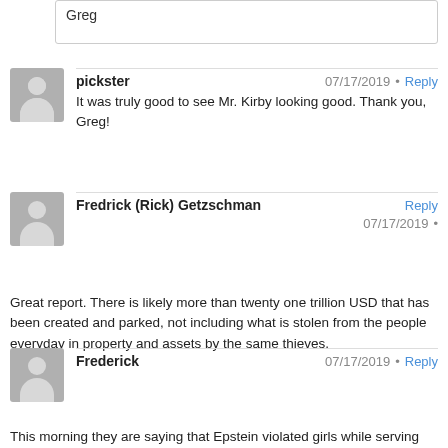Greg
pickster
07/17/2019 • Reply
It was truly good to see Mr. Kirby looking good. Thank you, Greg!
Fredrick (Rick) Getzschman
07/17/2019 • Reply
Great report. There is likely more than twenty one trillion USD that has been created and parked, not including what is stolen from the people everyday in property and assets by the same thieves.
Frederick
07/17/2019 • Reply
This morning they are saying that Epstein violated girls while serving his time working at home This just shows the arrogance of this human refuse and how obviously coopted our country truly is Carlin was spot on